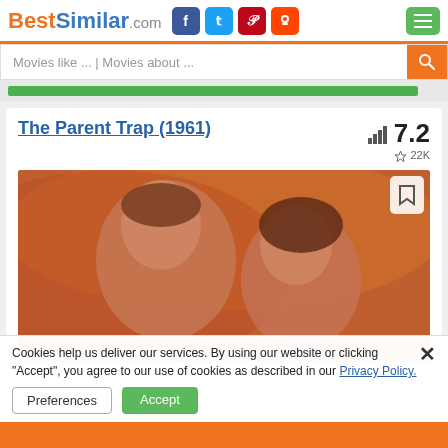BestSimilar.com
Movies like ... | Movies about ...
The Parent Trap (1961)
7.2  22K
[Figure (photo): Movie poster/still from The Parent Trap (1961) showing two people in close embrace, warm orange tones]
Cookies help us deliver our services. By using our website or clicking "Accept", you agree to our use of cookies as described in our Privacy Policy.